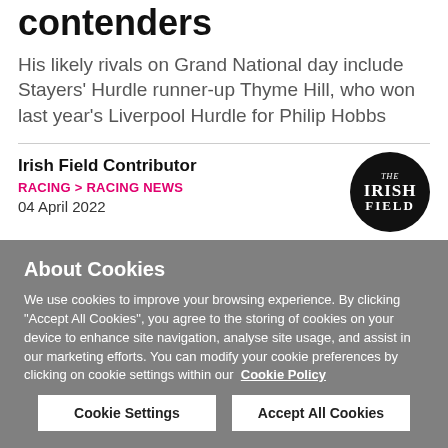contenders
His likely rivals on Grand National day include Stayers' Hurdle runner-up Thyme Hill, who won last year's Liverpool Hurdle for Philip Hobbs
Irish Field Contributor
RACING > RACING NEWS
04 April 2022
About Cookies
We use cookies to improve your browsing experience. By clicking "Accept All Cookies", you agree to the storing of cookies on your device to enhance site navigation, analyse site usage, and assist in our marketing efforts. You can modify your cookie preferences by clicking on cookie settings within our  Cookie Policy
Cookie Settings
Accept All Cookies